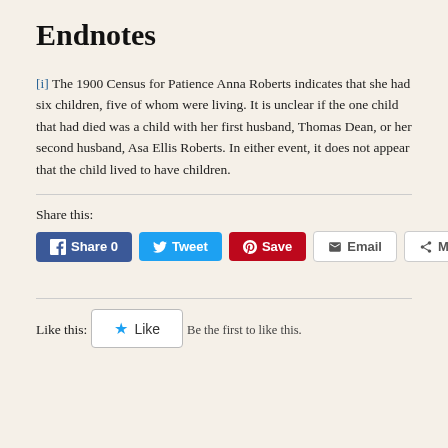Endnotes
[i] The 1900 Census for Patience Anna Roberts indicates that she had six children, five of whom were living. It is unclear if the one child that had died was a child with her first husband, Thomas Dean, or her second husband, Asa Ellis Roberts. In either event, it does not appear that the child lived to have children.
Share this:
Facebook Share 0 | Tweet | Save | Email | More
Like this:
Like
Be the first to like this.